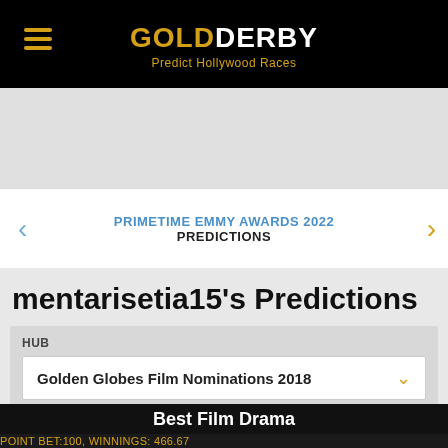GOLDDERBY Predict Hollywood Races
PRIMETIME EMMY AWARDS 2022 PREDICTIONS
mentarisetia15's Predictions
HUB
Golden Globes Film Nominations 2018
Best Film Drama
POINT BET:100, WINNINGS: 466.67